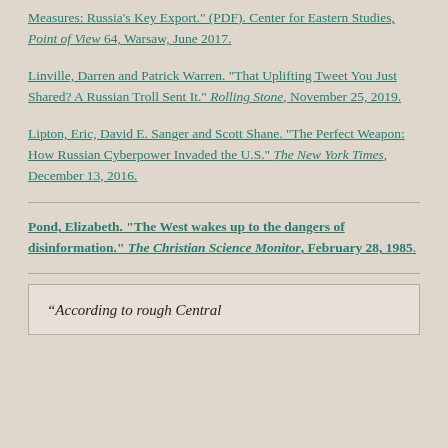Measures: Russia's Key Export." (PDF). Center for Eastern Studies, Point of View 64, Warsaw, June 2017.
Linville, Darren and Patrick Warren. "That Uplifting Tweet You Just Shared? A Russian Troll Sent It." Rolling Stone, November 25, 2019.
Lipton, Eric, David E. Sanger and Scott Shane. "The Perfect Weapon: How Russian Cyberpower Invaded the U.S." The New York Times, December 13, 2016.
Pond, Elizabeth. "The West wakes up to the dangers of disinformation." The Christian Science Monitor, February 28, 1985.
“According to rough Central